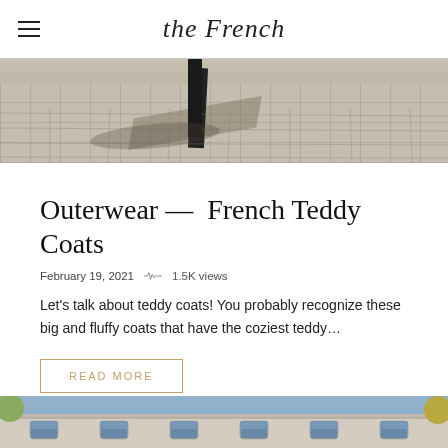the French
[Figure (photo): Close-up of cobblestone pavement with a dark-clad leg and shadow visible at top]
Outerwear —  French Teddy Coats
February 19, 2021   1.5K views
Let's talk about teddy coats! You probably recognize these big and fluffy coats that have the coziest teddy…
READ MORE
[Figure (photo): Bottom partial view of a Parisian-style building facade with ornate windows and stone details]